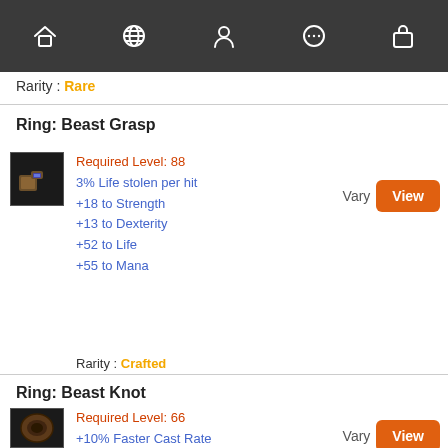Navigation bar with home, globe, person, chat, and bag icons
Rarity : Rare
Ring: Beast Grasp
Required Level: 88
3% Life stolen per hit
+18 to Strength
+13 to Dexterity
+52 to Life
+55 to Mana
Rarity : Crafted
Ring: Beast Knot
Required Level: 66
+10% Faster Cast Rate
+7 to Minimum Damage
+17 to Strength
Cold Resist +27%
Fire Resist +28%
Poison Resist +10%
Rarity :